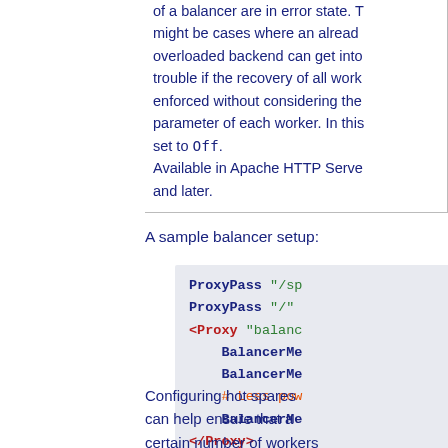of a balancer are in error state. There might be cases where an already overloaded backend can get into trouble if the recovery of all workers is enforced without considering the retry parameter of each worker. In this case set to Off. Available in Apache HTTP Server 2.4.58 and later.
A sample balancer setup:
[Figure (screenshot): Code block showing Apache ProxyPass and Proxy configuration with BalancerMember directives]
Configuring hot spares can help ensure that a certain number of workers are always available for